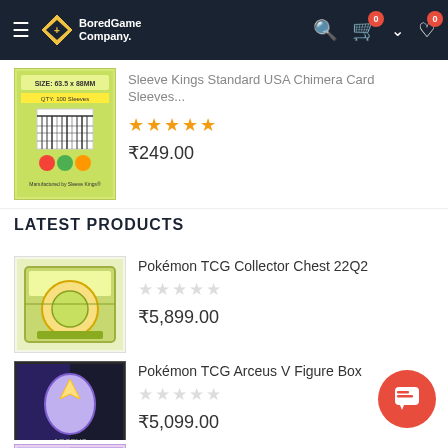BoredGame Company navigation bar
Sleeve Kings Standard USA Chimera Card Sleeves...
★★★★★ ₹249.00
LATEST PRODUCTS
Pokémon TCG Collector Chest 22Q2 ₹5,899.00
Pokémon TCG Arceus V Figure Box ₹5,099.00
Pokémon TCG: Sword & Shield-Astral Rad... ₹1,699.00